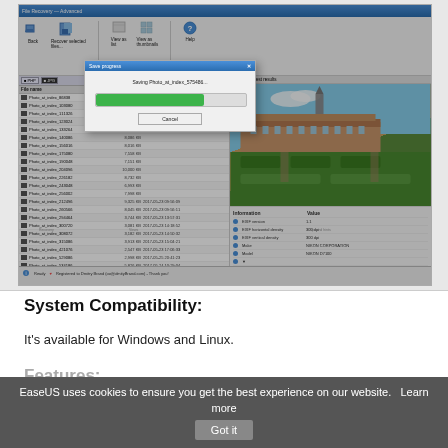[Figure (screenshot): A file recovery software window showing a list of photo files with names, sizes, and dates modified. A 'Save progress' modal dialog is open with a green progress bar at ~72% and a Cancel button. On the right is a preview panel showing a garden/palace landscape photo and an information panel below it with EXIF data including Make: NIKON CORPORATION, Model: NIKON D7100.]
System Compatibility:
It's available for Windows and Linux.
Features:
EaseUS uses cookies to ensure you get the best experience on our website.   Learn more   Got it